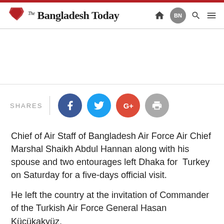The Bangladesh Today
[Figure (infographic): Social share buttons: Facebook, Twitter, Google+, Print with SHARES label]
Chief of Air Staff of Bangladesh Air Force Air Chief Marshal Shaikh Abdul Hannan along with his spouse and two entourages left Dhaka for Turkey on Saturday for a five-days official visit.
He left the country at the invitation of Commander of the Turkish Air Force General Hasan Küçükakyüz.
During the visit, Chief of Air Staff of Bangladesh Air Force will visit the mausoleum (Anitkabir) of